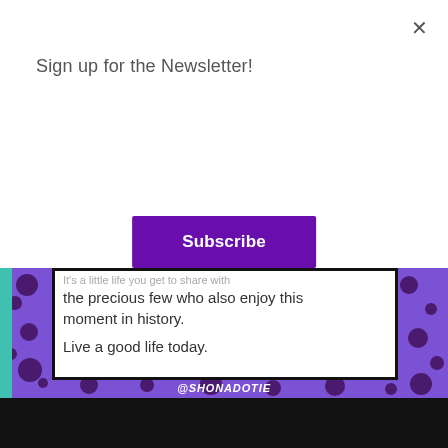Sign up for the Newsletter!
Subscribe
[Figure (screenshot): Partial screenshot of a social media quote image on a purple polka-dot background. White card shows text: 'It's a little life you get to share with the precious few who also enjoy this moment in history. Live a good life today.' Watermark: @SHONADOTIE]
We use cookies to ensure that we give you the best experience on our website. If you continue to use this site we will assume that you are happy with it.
Ok